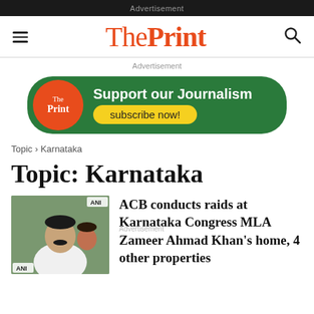Advertisement
[Figure (logo): ThePrint website logo with hamburger menu and search icon]
Advertisement
[Figure (infographic): ThePrint subscription ad banner: Support our Journalism — subscribe now!]
Topic › Karnataka
Topic: Karnataka
[Figure (photo): Photo of a man (Karnataka Congress MLA Zameer Ahmad Khan) with ANI watermark]
ACB conducts raids at Karnataka Congress MLA Zameer Ahmad Khan's home, 4 other properties